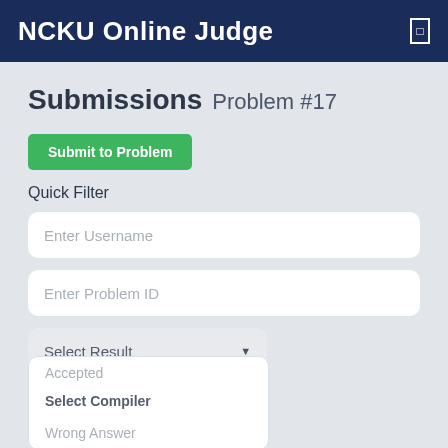NCKU Online Judge
Submissions Problem #17
Submit to Problem
Quick Filter
Enter Username
Enter Problem ID
Select Result
Select Compiler
Accepted
Wrong Answer